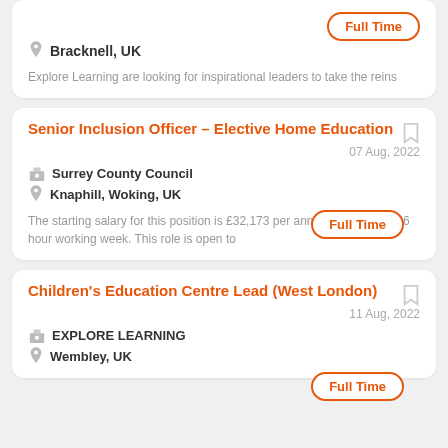Bracknell, UK
Explore Learning are looking for inspirational leaders to take the reins
Senior Inclusion Officer – Elective Home Education
07 Aug, 2022
Surrey County Council
Knaphill, Woking, UK
The starting salary for this position is £32,173 per annum based on a 36 hour working week. This role is open to
Children's Education Centre Lead (West London)
11 Aug, 2022
EXPLORE LEARNING
Wembley, UK